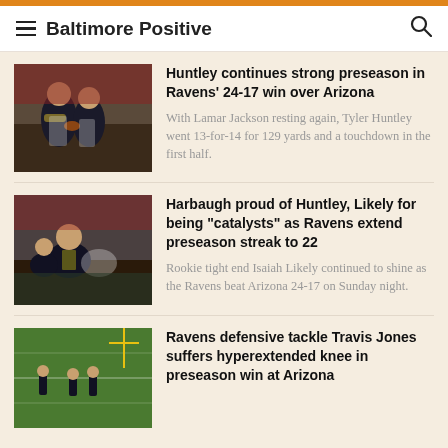Baltimore Positive
[Figure (photo): Football players in action during a Ravens game]
Huntley continues strong preseason in Ravens' 24-17 win over Arizona
With Lamar Jackson resting again, Tyler Huntley went 13-for-14 for 129 yards and a touchdown in the first half.
[Figure (photo): Ravens player being tackled during a game]
Harbaugh proud of Huntley, Likely for being “catalysts” as Ravens extend preseason streak to 22
Rookie tight end Isaiah Likely continued to shine as the Ravens beat Arizona 24-17 on Sunday night.
[Figure (photo): Ravens players on a practice or game field]
Ravens defensive tackle Travis Jones suffers hyperextended knee in preseason win at Arizona